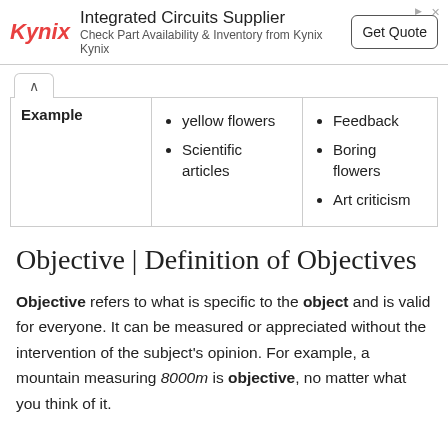[Figure (other): Advertisement banner for Kynix Integrated Circuits Supplier with logo, text, and Get Quote button]
|  | Column 1 | Column 2 |
| --- | --- | --- |
| Example | yellow flowers
Scientific articles | Feedback
Boring flowers
Art criticism |
Objective | Definition of Objectives
Objective refers to what is specific to the object and is valid for everyone. It can be measured or appreciated without the intervention of the subject's opinion. For example, a mountain measuring 8000m is objective, no matter what you think of it.